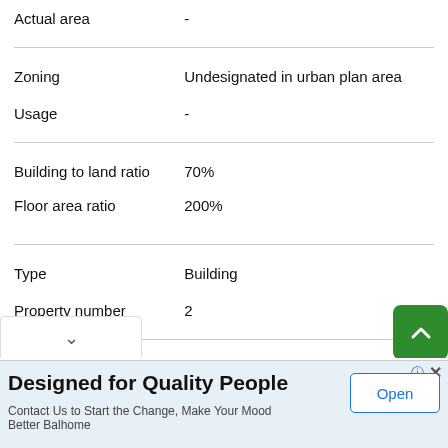| Field | Value |
| --- | --- |
| Actual area | - |
| Zoning | Undesignated in urban plan area |
| Usage | - |
| Building to land ratio

Floor area ratio | 70%

200% |
| Type | Building |
| Property number | 2 |
| Building number | 2036- |
Designed for Quality People
Contact Us to Start the Change, Make Your Mood Better Balhome